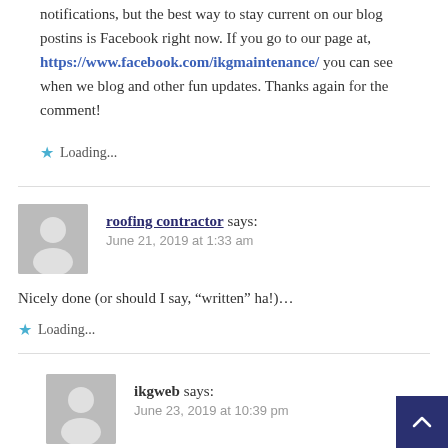notifications, but the best way to stay current on our blog postins is Facebook right now. If you go to our page at, https://www.facebook.com/ikgmaintenance/ you can see when we blog and other fun updates. Thanks again for the comment!
Loading...
roofing contractor says: June 21, 2019 at 1:33 am
Nicely done (or should I say, “written” ha!)...
Loading...
ikgweb says: June 23, 2019 at 10:39 pm